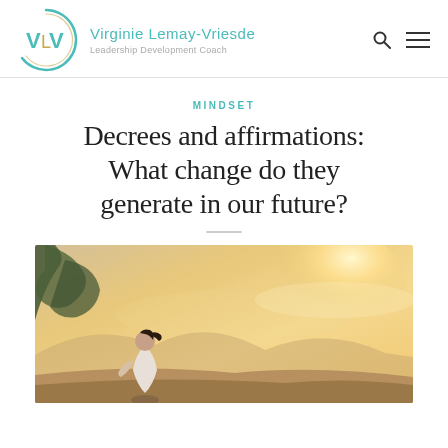Virginie Lemay-Vriesde — Leadership Development Coach
MINDSET
Decrees and affirmations: What change do they generate in our future?
[Figure (photo): Woman sitting in meditation pose on a hilltop, viewed from behind, against a warm golden sunset sky with mountains and a tree silhouette in the background]